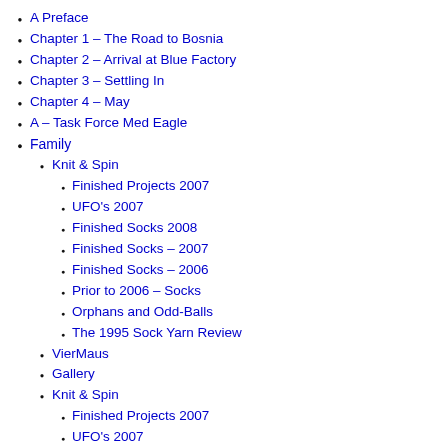A Preface
Chapter 1 – The Road to Bosnia
Chapter 2 – Arrival at Blue Factory
Chapter 3 – Settling In
Chapter 4 – May
A – Task Force Med Eagle
Family
Knit & Spin
Finished Projects 2007
UFO's 2007
Finished Socks 2008
Finished Socks – 2007
Finished Socks – 2006
Prior to 2006 – Socks
Orphans and Odd-Balls
The 1995 Sock Yarn Review
VierMaus
Gallery
Knit & Spin
Finished Projects 2007
UFO's 2007
Finished Socks 2008